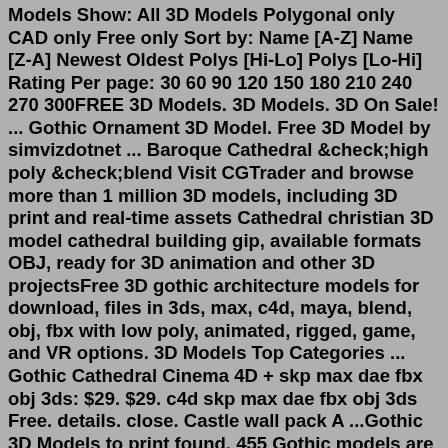Models Show: All 3D Models Polygonal only CAD only Free only Sort by: Name [A-Z] Name [Z-A] Newest Oldest Polys [Hi-Lo] Polys [Lo-Hi] Rating Per page: 30 60 90 120 150 180 210 240 270 300FREE 3D Models. 3D Models. 3D On Sale! ... Gothic Ornament 3D Model. Free 3D Model by simvizdotnet ... Baroque Cathedral &check;high poly &check;blend Visit CGTrader and browse more than 1 million 3D models, including 3D print and real-time assets Cathedral christian 3D model cathedral building gip, available formats OBJ, ready for 3D animation and other 3D projectsFree 3D gothic architecture models for download, files in 3ds, max, c4d, maya, blend, obj, fbx with low poly, animated, rigged, game, and VR options. 3D Models Top Categories ... Gothic Cathedral Cinema 4D + skp max dae fbx obj 3ds: $29. $29. c4d skp max dae fbx obj 3ds Free. details. close. Castle wall pack A ...Gothic 3D Models to print found. 455 Gothic models are available for download. These models contain a ZIP archive with STL files and previews also has smaller number of polygons